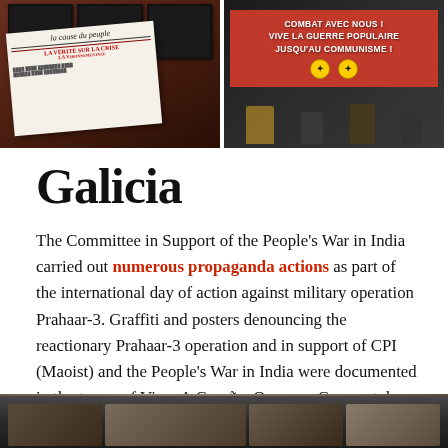[Figure (photo): Two side-by-side photos. Left: framed photographs on a wall and a French newspaper 'la cause du peuple' visible. Right: performers or protesters in front of a red banner reading 'COMBAT AVEC NOUS! VIVE LA GUERRE POPULAIRE JUSQU'AU COMMUNISME!' with an emblem.]
Galicia
The Committee in Support of the People's War in India carried out numerous propaganda actions as part of the international day of action against military operation Prahaar-3. Graffiti and posters denouncing the reactionary Prahaar-3 operation and in support of CPI (Maoist) and the People's War in India were documented in the towns of Vigo, A Coruña, Ourense, Compostela, and Lugo.
[Figure (photo): Bottom partial photo showing what appears to be an indoor scene, partially cropped.]